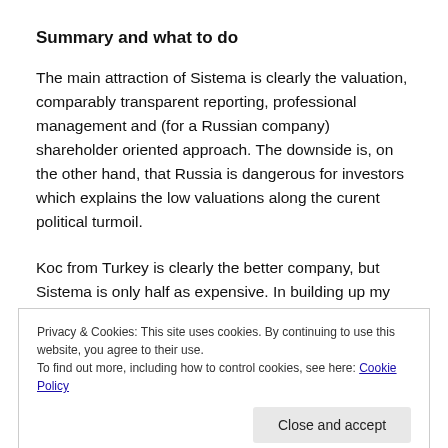Summary and what to do
The main attraction of Sistema is clearly the valuation, comparably transparent reporting, professional management and (for a Russian company) shareholder oriented approach. The downside is, on the other hand, that Russia is dangerous for investors which explains the low valuations along the curent political turmoil.
Koc from Turkey is clearly the better company, but Sistema is only half as expensive. In building up my
Privacy & Cookies: This site uses cookies. By continuing to use this website, you agree to their use.
To find out more, including how to control cookies, see here: Cookie Policy
ridicoulusly succesfull deals in tough times as Bashneft